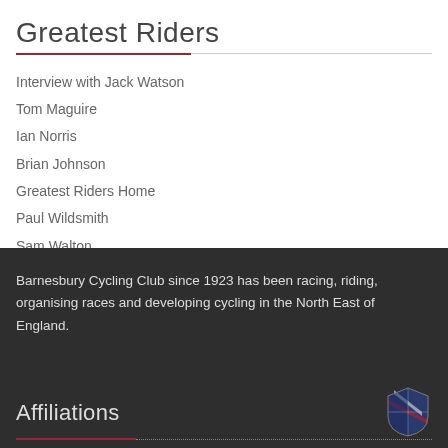Greatest Riders
Interview with Jack Watson
Tom Maguire
Ian Norris
Brian Johnson
Greatest Riders Home
Paul Wildsmith
Sam Walton
Barnesbury Cycling Club since 1923 has been racing, riding, organising races and developing cycling in the North East of England.
Affiliations